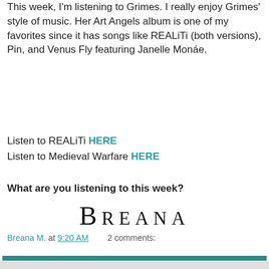This week, I'm listening to Grimes. I really enjoy Grimes' style of music. Her Art Angels album is one of my favorites since it has songs like REALiTi (both versions), Pin, and Venus Fly featuring Janelle Monáe.
Listen to REALiTi HERE
Listen to Medieval Warfare HERE
What are you listening to this week?
[Figure (illustration): Stylized signature/logo text reading BREANA in large serif font with small caps styling]
Breana M. at 9:20 AM   2 comments:
Share
‹   Home   ›
View web version